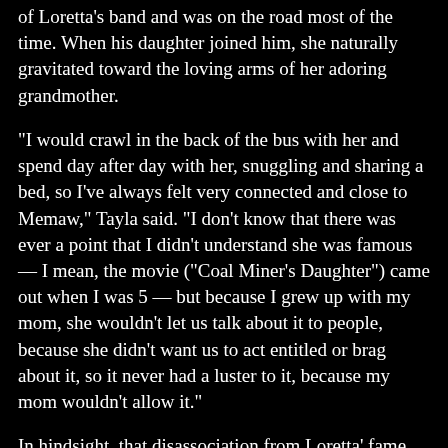her dad on and on, but he started playing as a member of Loretta's band and was on the road most of the time. When his daughter joined him, she naturally gravitated toward the loving arms of her adoring grandmother.
“I would crawl in the back of the bus with her and spend day after day with her, snuggling and sharing a bed, so I’ve always felt very connected and close to Memaw,” Tayla said. “I don’t know that there was ever a point that I didn’t understand she was famous — I mean, the movie (“Coal Miner’s Daughter”) came out when I was 5 — but because I grew up with my mom, she wouldn’t let us talk about it to people, because she didn’t want us to act entitled or brag about it, so it never had a luster to it, because my mom wouldn’t allow it.”
In hindsight, that disassociation from Loretta’ fame allowed Tayla somewhat of a normal childhood, but it wasn’t until she was older that she came to see why her grandmother was and is revered as the “Queen of Country Music.”
“I remember wishing she was Reba when I was little!” she said with a laugh. “Reba had songs on the radio and